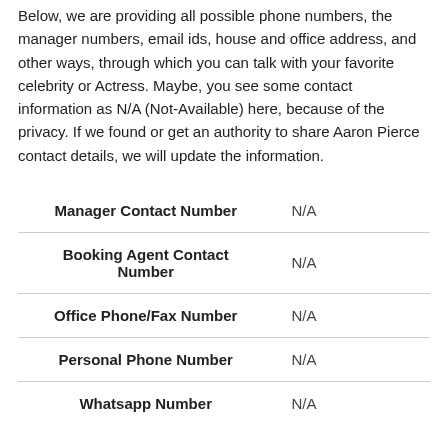Below, we are providing all possible phone numbers, the manager numbers, email ids, house and office address, and other ways, through which you can talk with your favorite celebrity or Actress. Maybe, you see some contact information as N/A (Not-Available) here, because of the privacy. If we found or get an authority to share Aaron Pierce contact details, we will update the information.
|  |  |
| --- | --- |
| Manager Contact Number | N/A |
| Booking Agent Contact Number | N/A |
| Office Phone/Fax Number | N/A |
| Personal Phone Number | N/A |
| Whatsapp Number | N/A |